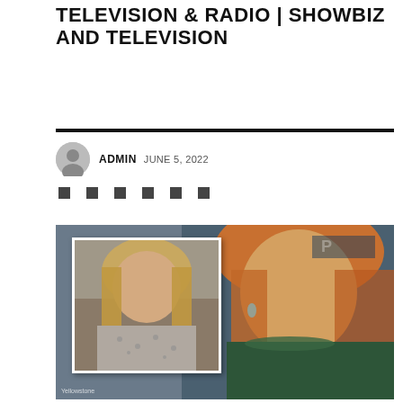TELEVISION & RADIO | SHOWBIZ AND TELEVISION
ADMIN   JUNE 5, 2022
[Figure (photo): Composite photo showing a woman with long blonde hair wearing a green ruffled top at a Paramount event, with an inset smaller photo of the same woman in a grey floral top.]